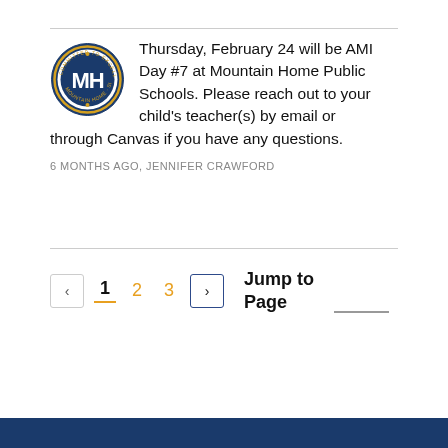[Figure (logo): Mountain Home Public Schools circular logo with MH letters and gold/navy colors]
Thursday, February 24 will be AMI Day #7 at Mountain Home Public Schools. Please reach out to your child's teacher(s) by email or through Canvas if you have any questions.
6 MONTHS AGO, JENNIFER CRAWFORD
< 1 2 3 > Jump to Page